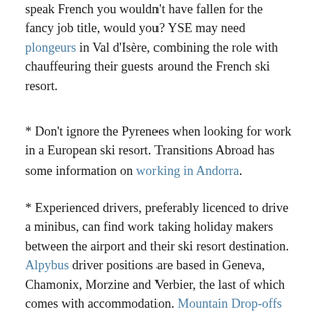speak French you wouldn't have fallen for the fancy job title, would you? YSE may need plongeurs in Val d'Isère, combining the role with chauffeuring their guests around the French ski resort.
* Don't ignore the Pyrenees when looking for work in a European ski resort. Transitions Abroad has some information on working in Andorra.
* Experienced drivers, preferably licenced to drive a minibus, can find work taking holiday makers between the airport and their ski resort destination. Alpybus driver positions are based in Geneva, Chamonix, Morzine and Verbier, the last of which comes with accommodation. Mountain Drop-offs also serve Chamonix and Morzine from Geneva airport. Try also Chamexpress. Large tour operators also often recruit their own dedicated driving staff, while Morzine Int...